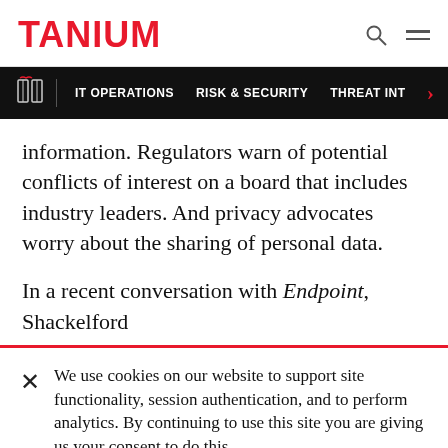TANIUM
IT OPERATIONS | RISK & SECURITY | THREAT INT
information. Regulators warn of potential conflicts of interest on a board that includes industry leaders. And privacy advocates worry about the sharing of personal data.
In a recent conversation with Endpoint, Shackelford
We use cookies on our website to support site functionality, session authentication, and to perform analytics. By continuing to use this site you are giving us your consent to do this. Learn More | Adjust Cookie Preferences